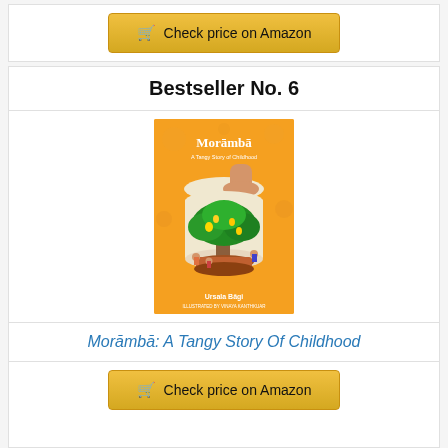Check price on Amazon
Bestseller No. 6
[Figure (illustration): Book cover of Morāmbā: A Tangy Story Of Childhood by Ursula Bāgi, illustrated by Vinaya Kanthkuar. Orange background with a mango tree inside a jar, children playing around it, and a hand opening the jar lid.]
Morāmbā: A Tangy Story Of Childhood
Check price on Amazon